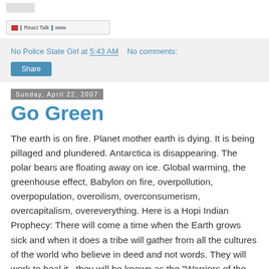[Figure (logo): Small logo placeholder at top of page]
[Figure (screenshot): Toolbar/navigation bar with small colored icons and text]
No Police State Girl at 5:43 AM    No comments:
Share
Sunday, April 22, 2007
Go Green
The earth is on fire. Planet mother earth is dying. It is being pillaged and plundered. Antarctica is disappearing. The polar bears are floating away on ice. Global warming, the greenhouse effect, Babylon on fire, overpollution, overpopulation, overoilism, overconsumerism, overcapitalism, overeverything. Here is a Hopi Indian Prophecy: There will come a time when the Earth grows sick and when it does a tribe will gather from all the cultures of the world who believe in deed and not words. They will work to heal it...they will be known as the "Warriors of the